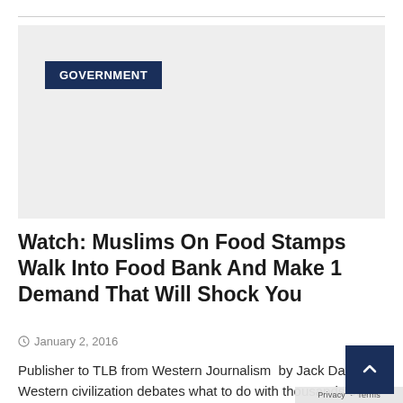[Figure (photo): Large image placeholder block with light gray background; a dark navy/blue category label 'GOVERNMENT' overlaid in upper left corner]
Watch: Muslims On Food Stamps Walk Into Food Bank And Make 1 Demand That Will Shock You
January 2, 2016
Publisher to TLB from Western Journalism  by Jack Dav… Western civilization debates what to do with thousands of…